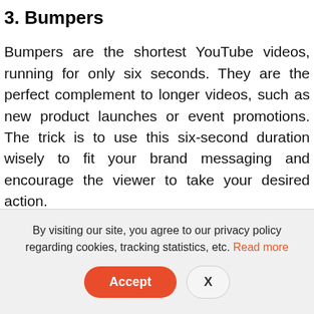3. Bumpers
Bumpers are the shortest YouTube videos, running for only six seconds. They are the perfect complement to longer videos, such as new product launches or event promotions. The trick is to use this six-second duration wisely to fit your brand messaging and encourage the viewer to take your desired action.
At Acquiva, we focus on increasing your click-through rate and the number of times your customers watch your video. We want to make sure they get the most value out of your video, so we create it in a way that gets maximum views. Our YouTube marketing service is second to none. We can
By visiting our site, you agree to our privacy policy regarding cookies, tracking statistics, etc. Read more
Accept   X